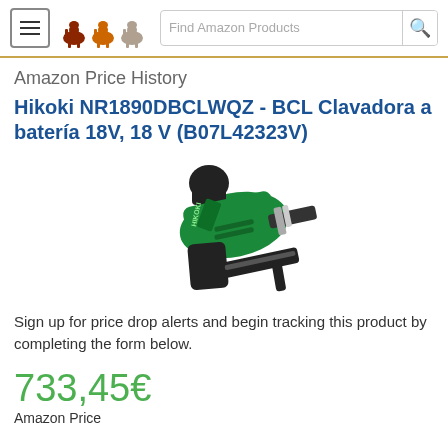Amazon Price History
Hikoki NR1890DBCLWQZ - BCL Clavadora a batería 18V, 18 V (B07L42323V)
[Figure (photo): Photo of a green and black Hikoki NR1890DBCLWQZ cordless nail gun (battery-powered framing nailer) shown in profile view against a white background.]
Sign up for price drop alerts and begin tracking this product by completing the form below.
733,45€
Amazon Price